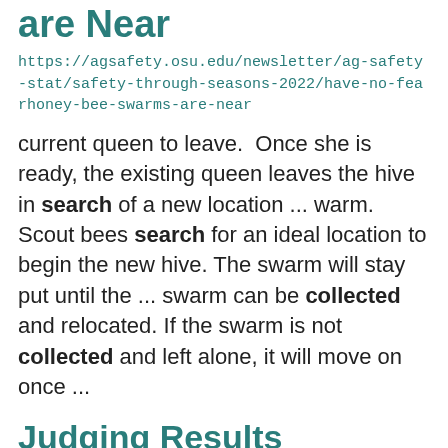are Near
https://agsafety.osu.edu/newsletter/ag-safety-stat/safety-through-seasons-2022/have-no-fearhoney-bee-swarms-are-near
current queen to leave.  Once she is ready, the existing queen leaves the hive in search of a new location ... warm.   Scout bees search for an ideal location to begin the new hive. The swarm will stay put until the ... swarm can be collected and relocated. If the swarm is not collected and left alone, it will move on once ...
Judging Results
https://gallia.osu.edu/program-areas/4-h-youth-development/gallia-county-fair/gallia-county-junior-fair-judging-results